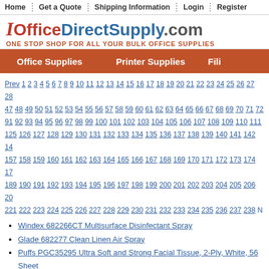Home | Get a Quote | Shipping Information | Login | Register
IOfficeDirectSupply.com — ONE STOP SHOP FOR ALL YOUR BULK OFFICE SUPPLIES
Office Supplies   Printer Supplies   Fili...
Prev 1 2 3 4 5 6 7 8 9 10 11 12 13 14 15 16 17 18 19 20 21 22 23 24 25 26 27 28... 47 48 49 50 51 52 53 54 55 56 57 58 59 60 61 62 63 64 65 66 67 68 69 70 71 72... 91 92 93 94 95 96 97 98 99 100 101 102 103 104 105 106 107 108 109 110 111... 125 126 127 128 129 130 131 132 133 134 135 136 137 138 139 140 141 142 14... 157 158 159 160 161 162 163 164 165 166 167 168 169 170 171 172 173 174 17... 189 190 191 192 193 194 195 196 197 198 199 200 201 202 203 204 205 206 20... 221 222 223 224 225 226 227 228 229 230 231 232 233 234 235 236 237 238 N
Windex 682266CT Multisurface Disinfectant Spray
Glade 682277 Clean Linen Air Spray
Puffs PGC35295 Ultra Soft and Strong Facial Tissue, 2-Ply, White, 56 Sheet...
Fantastik 696721CT Disinfectant Multi-Purpose Cleaner
Febreze 97810CT Air Freshener Spray
ActiveAire 48265 Low Splash Urinal Screen
ActiveAire 48275 Deodorizer Urinal Screen
Glade 630125 Carpet & Room Refresher
Glade 643259 Carpet & Room Refresher
Glade 649053 Room Spray
Simple Green 213421 Pro HD Heavy-Duty Cleaner & Degreaser
Genuine Joe 99668 RTU Restroom Cleaner
Genuine Joe 99669 Ammoniated Glass Cleaner
Genuine Joe 99670 Ammoniated Glass Cleaner